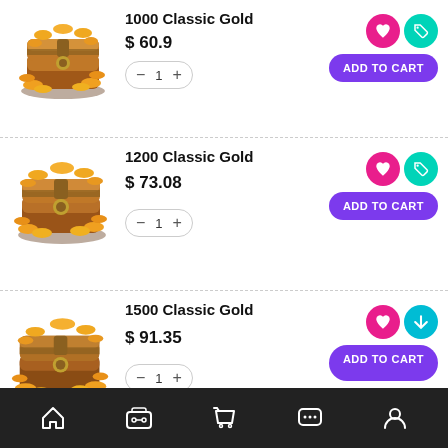[Figure (illustration): Gold chest with coins for 1000 Classic Gold]
1000 Classic Gold
$ 60.9
ADD TO CART
[Figure (illustration): Gold chest with coins for 1200 Classic Gold]
1200 Classic Gold
$ 73.08
ADD TO CART
[Figure (illustration): Gold chest with coins for 1500 Classic Gold]
1500 Classic Gold
$ 91.35
ADD TO CART
Home | Games | Cart | Messages | Profile